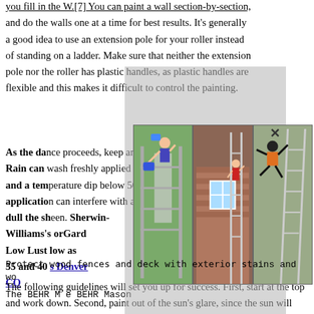you fill in the W.[7] You can paint a wall section-by-section, and do the walls one at a time for best results. It's generally a good idea to use an extension pole for your roller instead of standing on a ladder. Make sure that neither the extension pole nor the roller has plastic handles, as plastic handles are flexible and this makes it difficult to control the painting.
As the dance proceeds, keep an eye on the weather. Rain can wash freshly applied latex right off the wall, and a temperature dip below 50 degrees F two days after application can interfere with adhesion and curing and dull the sheen. Sherwin-Williams's ... orGard Low Lust... low as 35 and 40 ... s Denver CO
[Figure (photo): Three photos side by side showing people painting exterior walls of houses using ladders and extension tools.]
The BEHR M... BEHR Mason
Protect wood fences and deck with exterior stains and wo...
The following guidelines will set you up for success. First, start at the top and work down. Second, paint out of the sun's glare, since the sun will cause the paint to dry too quickly and flake or blister. To avoid marks, try to brush from one wet surface onto another. If you do have to paint onto